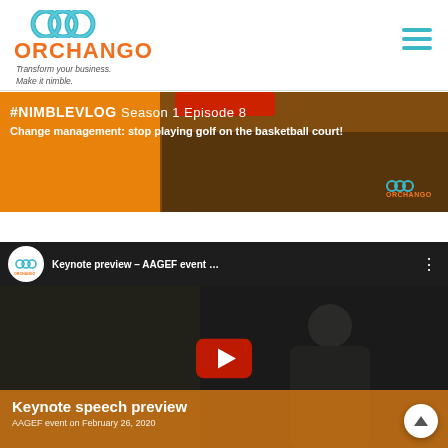[Figure (logo): Orchango logo with teal/blue overlapping circles icon and orange ORCHANGO text, tagline 'Transform your business. Make it nimble.']
[Figure (screenshot): NimbleVlog banner: orange background with text '#NimbleVlog Season 1 Episode 8 - Change management: stop playing golf on the basketball court!' with Orchango branding bottom right]
[Figure (screenshot): YouTube video embed: Keynote preview - AAGEF event ... with play button, orange bottom bar reading 'Keynote speech preview / AAGEF event on February 26, 2020']